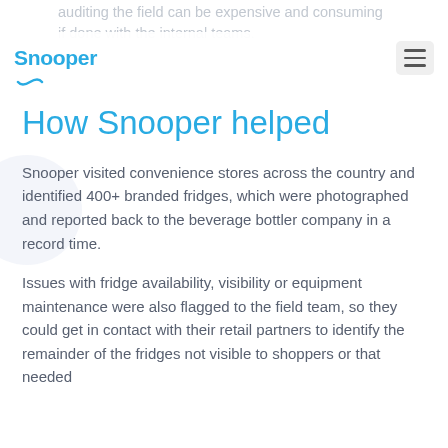Snooper
auditing the field can be expensive and consuming if done with the internal teams.
How Snooper helped
Snooper visited convenience stores across the country and identified 400+ branded fridges, which were photographed and reported back to the beverage bottler company in a record time.
Issues with fridge availability, visibility or equipment maintenance were also flagged to the field team, so they could get in contact with their retail partners to identify the remainder of the fridges not visible to shoppers or that needed